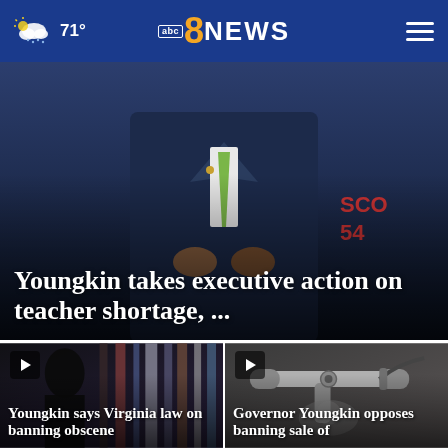71° abc8NEWS
[Figure (photo): Man in dark suit with green tie, with handwritten text 'SCO 54' visible in background. Hero story image.]
Youngkin takes executive action on teacher shortage, ...
[Figure (photo): Blurred library bookshelves with dark silhouette. Video thumbnail with play button.]
Youngkin says Virginia law on banning obscene
[Figure (photo): Close-up of bicycle or motorcycle steering mechanism/handlebars with person reflected. Video thumbnail with play button.]
Governor Youngkin opposes banning sale of